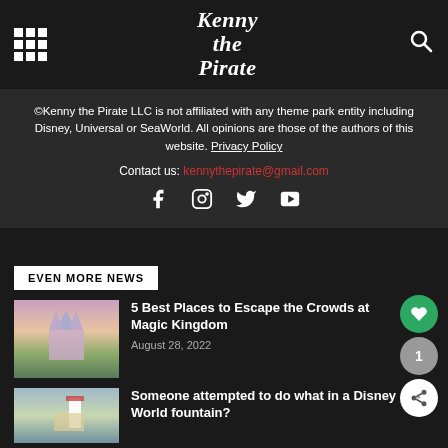Kenny the Pirate
©Kenny the Pirate LLC is not affiliated with any theme park entity including Disney, Universal or SeaWorld. All opinions are those of the authors of this website. Privacy Policy
Contact us: kennythepirate@gmail.com
[Figure (infographic): Social media icons: Facebook, Instagram, Twitter, YouTube]
EVEN MORE NEWS
5 Best Places to Escape the Crowds at Magic Kingdom
August 28, 2022
Someone attempted to do what in a Disney World fountain?